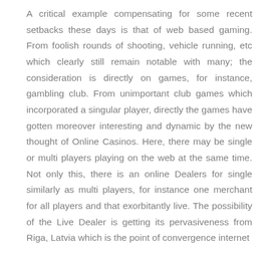A critical example compensating for some recent setbacks these days is that of web based gaming. From foolish rounds of shooting, vehicle running, etc which clearly still remain notable with many; the consideration is directly on games, for instance, gambling club. From unimportant club games which incorporated a singular player, directly the games have gotten moreover interesting and dynamic by the new thought of Online Casinos. Here, there may be single or multi players playing on the web at the same time. Not only this, there is an online Dealers for single similarly as multi players, for instance one merchant for all players and that exorbitantly live. The possibility of the Live Dealer is getting its pervasiveness from Riga, Latvia which is the point of convergence internet